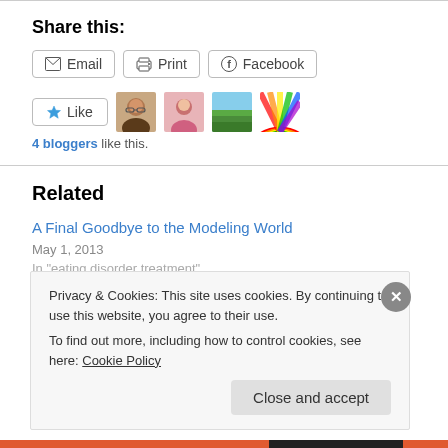Share this:
Email  Print  Facebook
[Figure (other): Like button with star icon and 4 blogger avatars]
4 bloggers like this.
Related
A Final Goodbye to the Modeling World
May 1, 2013
In "eating disorder treatment"
Privacy & Cookies: This site uses cookies. By continuing to use this website, you agree to their use.
To find out more, including how to control cookies, see here: Cookie Policy
Close and accept